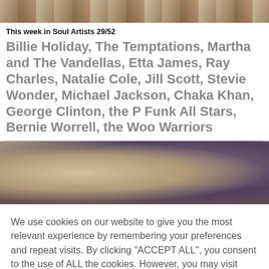[Figure (photo): Top cropped photo strip showing musicians or performers in warm tones]
This week in Soul Artists 29/52
Billie Holiday, The Temptations, Martha and The Vandellas, Etta James, Ray Charles, Natalie Cole, Jill Scott, Stevie Wonder, Michael Jackson, Chaka Khan, George Clinton, the P Funk All Stars, Bernie Worrell, the Woo Warriors
[Figure (photo): Middle cropped photo strip showing a close-up of a person's face in warm and dark tones]
We use cookies on our website to give you the most relevant experience by remembering your preferences and repeat visits. By clicking "ACCEPT ALL", you consent to the use of ALL the cookies. However, you may visit "Cookie Settings" to provide a controlled consent.
Cookie Settings   REJECT ALL   ACCEPT ALL